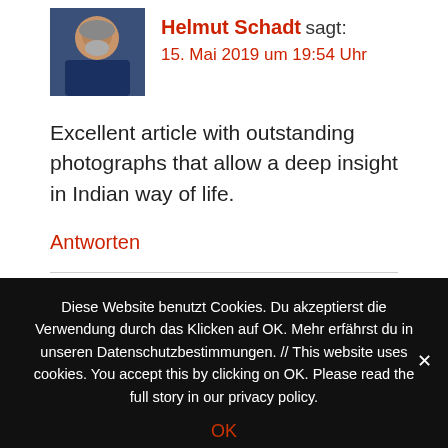[Figure (photo): Avatar photo of Helmut Schadt, a bearded man in a dark blue t-shirt]
Helmut Schadt sagt:
15. Mai 2019 um 19:54  Uhr
Excellent article with outstanding photographs that allow a deep insight in Indian way of life.
Antworten
[Figure (illustration): Green geometric pattern avatar for Cida Garcia]
Cida Garcia sagt:
23. Februar 2020 um 14:05  Uhr
Diese Website benutzt Cookies. Du akzeptierst die Verwendung durch das Klicken auf OK. Mehr erfährst du in unseren Datenschutzbestimmungen. // This website uses cookies. You accept this by clicking on OK. Please read the full story in our privacy policy.
OK